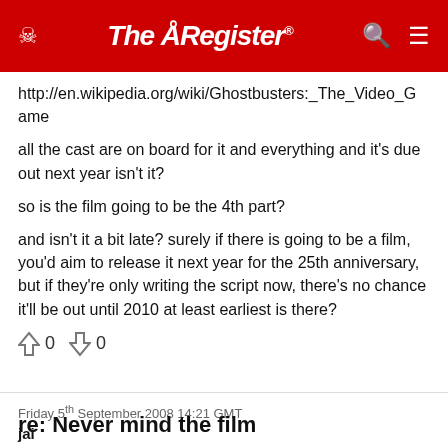The Register
http://en.wikipedia.org/wiki/Ghostbusters:_The_Video_Game
all the cast are on board for it and everything and it's due out next year isn't it?
so is the film going to be the 4th part?
and isn't it a bit late? surely if there is going to be a film, you'd aim to release it next year for the 25th anniversary, but if they're only writing the script now, there's no chance it'll be out until 2010 at least earliest is there?
↑ 0   ↓ 0
Friday 5th September 2008 14:21 GMT
jai
Report abuse
re: Never mind the film